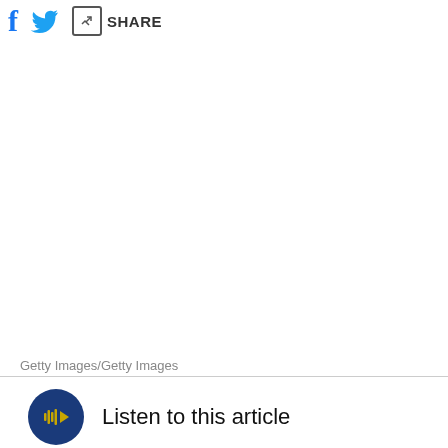[Figure (other): Social sharing icons: Facebook f icon (blue), Twitter bird icon (blue), and a share button with pencil/box icon and text SHARE]
Getty Images/Getty Images
Listen to this article